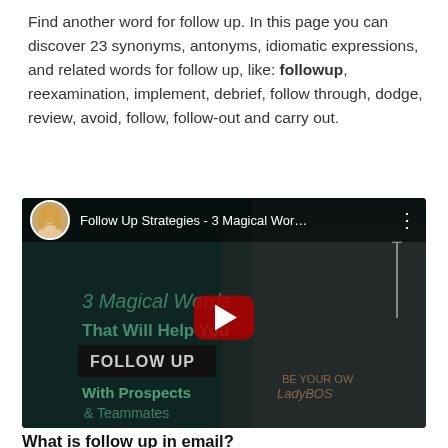Find another word for follow up. In this page you can discover 23 synonyms, antonyms, idiomatic expressions, and related words for follow up, like: followup, reexamination, implement, debrief, follow through, dodge, review, avoid, follow, follow-out and carry out.
[Figure (screenshot): YouTube video thumbnail for 'Follow Up Strategies - 3 Magical Wor...' showing a woman in a black shirt with text overlay: '3 Magical Words That Will Help You FOLLOW UP With Prospects & Teammates' and a YouTube play button in the center. A circular avatar of the woman appears in the top-left corner of the video bar.]
What is follow up in email?